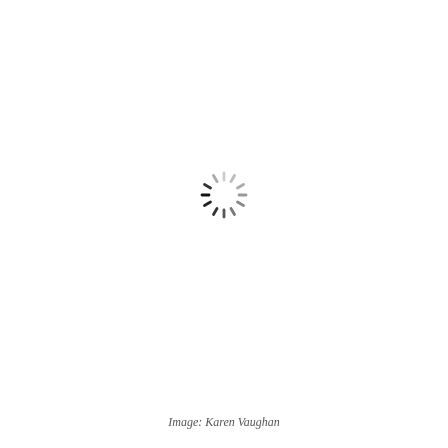[Figure (illustration): A loading spinner icon centered on the page, rendered as a circular arrangement of short radial lines/dashes in varying shades from dark gray/black to light gray, resembling a standard loading or processing indicator.]
Image: Karen Vaughan